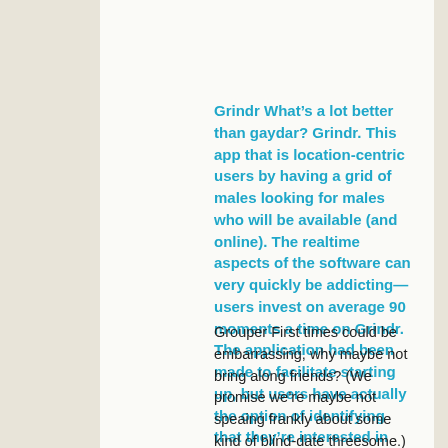Grindr What’s a lot better than gaydar? Grindr. This app that is location-centric users by having a grid of males looking for males who will be available (and online). The realtime aspects of the software can very quickly be addicting—users invest on average 90 moments a time on Grindr. The application had been made to facilitate starting up, but users have actually the option of identifying that they’re interested in anything from “right now” to” that is“networkingactually?).
Grouper First times could be embarrassing, why maybe not bring along friends? (We promise we’re maybe not speaing frankly about some kind of blind-date threesome.) Grouper is an app that pairs three solitary friends with another trio that stocks a number of the exact same passions. Grouper selects the club and